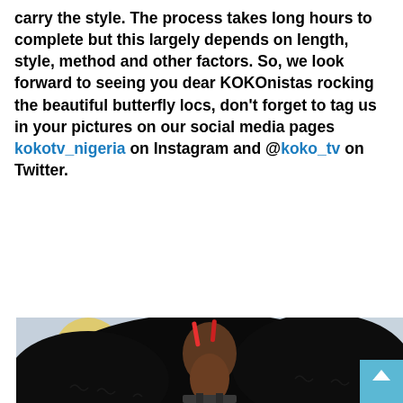carry the style. The process takes long hours to complete but this largely depends on length, style, method and other factors. So, we look forward to seeing you dear KOKOnistas rocking the beautiful butterfly locs, don't forget to tag us in your pictures on our social media pages @kokotv_nigeria on Instagram and @koko_tv on Twitter.
[Figure (photo): A person with long black butterfly locs hairstyle with red hair clips/accessories visible, photographed from behind/side angle. The background shows a branded backdrop with text 'The Loc' and 'LOCCEDBYZ' with illustrated portraits of women with various hairstyles including braids. A teal back-to-top button is visible in the bottom right corner.]